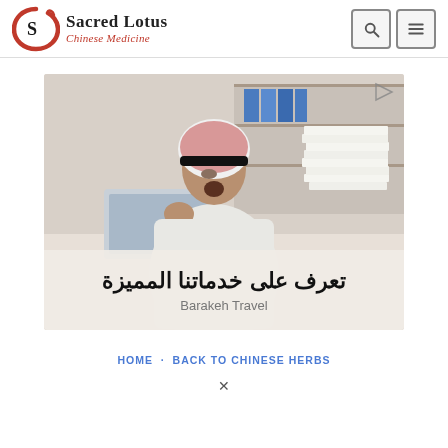[Figure (logo): Sacred Lotus Chinese Medicine logo with red circular brushstroke and text]
[Figure (screenshot): Advertisement banner showing a man in traditional Arab dress looking surprised at a stack of papers, with Arabic text reading 'تعرف على خدماتنا المميزة' and 'Barakeh Travel' below]
HOME · BACK TO CHINESE HERBS